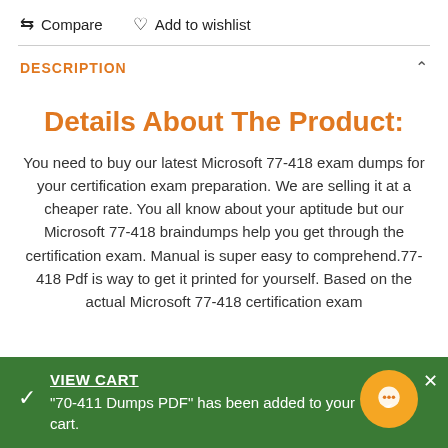⇄ Compare   ♡ Add to wishlist
DESCRIPTION
Details About The Product:
You need to buy our latest Microsoft 77-418 exam dumps for your certification exam preparation. We are selling it at a cheaper rate. You all know about your aptitude but our Microsoft 77-418 braindumps help you get through the certification exam. Manual is super easy to comprehend.77-418 Pdf is way to get it printed for yourself. Based on the actual Microsoft 77-418 certification exam…
VIEW CART
"70-411 Dumps PDF" has been added to your cart.